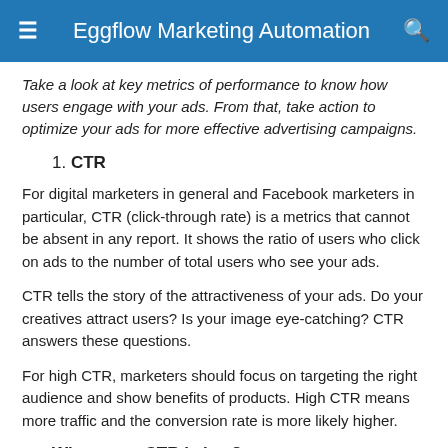Eggflow Marketing Automation
Take a look at key metrics of performance to know how users engage with your ads. From that, take action to optimize your ads for more effective advertising campaigns.
1. CTR
For digital marketers in general and Facebook marketers in particular, CTR (click-through rate) is a metrics that cannot be absent in any report. It shows the ratio of users who click on ads to the number of total users who see your ads.
CTR tells the story of the attractiveness of your ads. Do your creatives attract users? Is your image eye-catching? CTR answers these questions.
For high CTR, marketers should focus on targeting the right audience and show benefits of products. High CTR means more traffic and the conversion rate is more likely higher.
When your CTR is low?